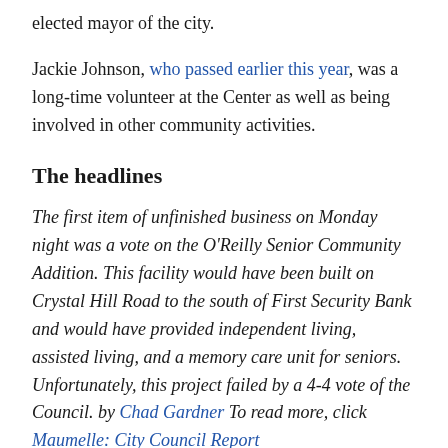elected mayor of the city.
Jackie Johnson, who passed earlier this year, was a long-time volunteer at the Center as well as being involved in other community activities.
The headlines
The first item of unfinished business on Monday night was a vote on the O'Reilly Senior Community Addition. This facility would have been built on Crystal Hill Road to the south of First Security Bank and would have provided independent living, assisted living, and a memory care unit for seniors. Unfortunately, this project failed by a 4-4 vote of the Council. by Chad Gardner To read more, click Maumelle: City Council Report
Donated houses to be set ablaze